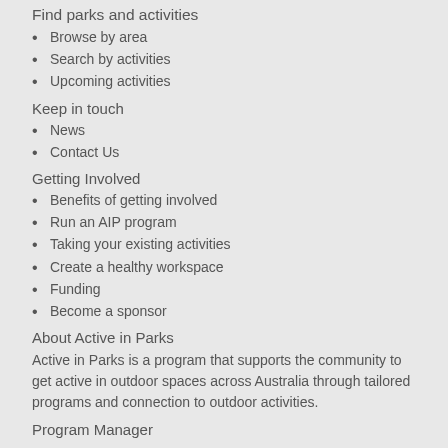Find parks and activities
Browse by area
Search by activities
Upcoming activities
Keep in touch
News
Contact Us
Getting Involved
Benefits of getting involved
Run an AIP program
Taking your existing activities
Create a healthy workspace
Funding
Become a sponsor
About Active in Parks
Active in Parks is a program that supports the community to get active in outdoor spaces across Australia through tailored programs and connection to outdoor activities.
Program Manager